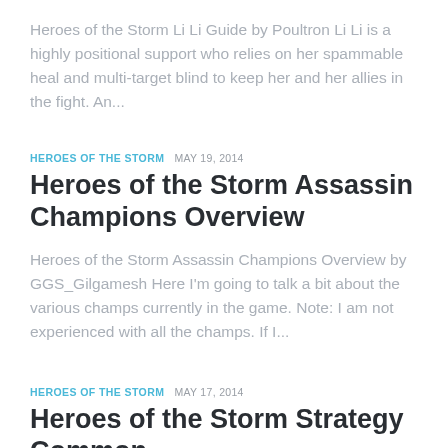Heroes of the Storm Li Li Guide by Poultron Li Li is a highly positional support who relies on her spammable heal and multi-target blind to keep her and her allies in the fight. An...
HEROES OF THE STORM   MAY 19, 2014
Heroes of the Storm Assassin Champions Overview
Heroes of the Storm Assassin Champions Overview by GGS_Gilgamesh Here I'm going to talk a bit about the various champs currently in the game. Note: I am not experienced with all the champs. If I...
HEROES OF THE STORM   MAY 17, 2014
Heroes of the Storm Strategy Common